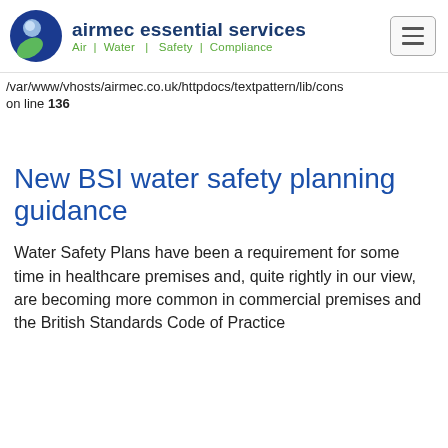airmec essential services | Air | Water | Safety | Compliance
/var/www/vhosts/airmec.co.uk/httpdocs/textpattern/lib/cons on line 136
New BSI water safety planning guidance
Water Safety Plans have been a requirement for some time in healthcare premises and, quite rightly in our view, are becoming more common in commercial premises and the British Standards Code of Practice